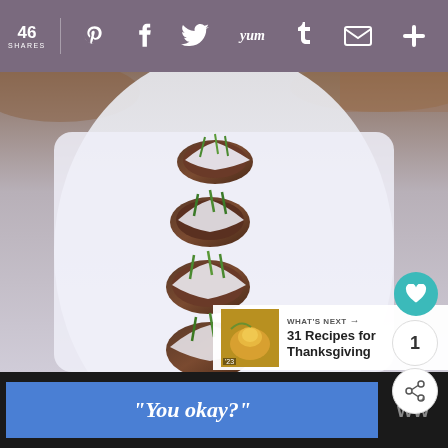46 SHARES | Pinterest | Facebook | Twitter | Yum | Tumblr | Mail | +
[Figure (photo): Food photo showing appetizers or stuffed mushrooms arranged on a white rectangular platter, drizzled with white cream sauce and topped with green chives/scallions. Blurred background.]
1
WHAT'S NEXT → 31 Recipes for Thanksgiving
“You okay?”
[Figure (logo): WW logo with superscript dot]